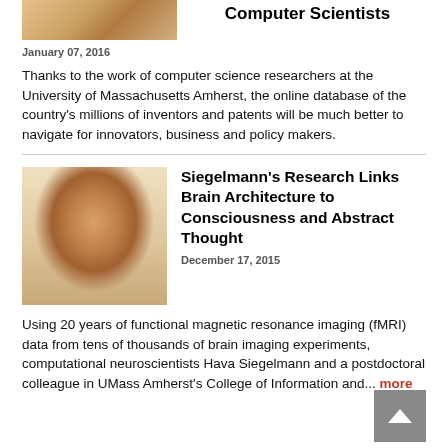[Figure (photo): Partial photo visible at top left corner]
Computer Scientists
January 07, 2016
Thanks to the work of computer science researchers at the University of Massachusetts Amherst, the online database of the country's millions of inventors and patents will be much better to navigate for innovators, business and policy makers.
[Figure (photo): Headshot of a woman with curly hair wearing a striped shirt (Hava Siegelmann)]
Siegelmann's Research Links Brain Architecture to Consciousness and Abstract Thought
December 17, 2015
Using 20 years of functional magnetic resonance imaging (fMRI) data from tens of thousands of brain imaging experiments, computational neuroscientists Hava Siegelmann and a postdoctoral colleague in UMass Amherst's College of Information and... more